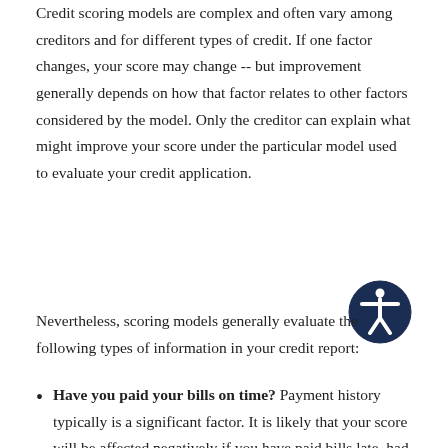Credit scoring models are complex and often vary among creditors and for different types of credit. If one factor changes, your score may change -- but improvement generally depends on how that factor relates to other factors considered by the model. Only the creditor can explain what might improve your score under the particular model used to evaluate your credit application.
Nevertheless, scoring models generally evaluate the following types of information in your credit report:
Have you paid your bills on time? Payment history typically is a significant factor. It is likely that your score will be affected negatively if you have paid bills late, had an